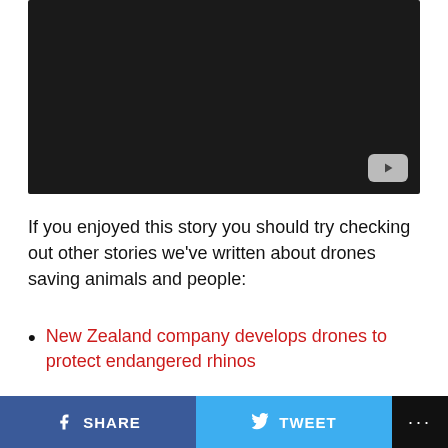[Figure (screenshot): Dark video player thumbnail with YouTube play button icon in bottom right corner]
If you enjoyed this story you should try checking out other stories we've written about drones saving animals and people:
New Zealand company develops drones to protect endangered rhinos
Drones help protected birds nests relocate from power lines before they catch fire
SHARE  TWEET  ...